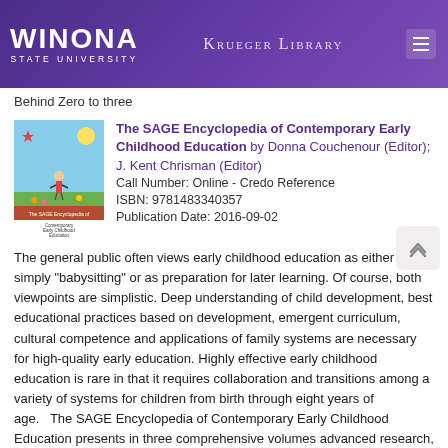WINONA STATE UNIVERSITY — Krueger Library
Behind Zero to three
[Figure (illustration): Book cover of The SAGE Encyclopedia of Contemporary Early Childhood Education showing children artwork illustration]
The SAGE Encyclopedia of Contemporary Early Childhood Education by Donna Couchenour (Editor); J. Kent Chrisman (Editor)
Call Number: Online - Credo Reference
ISBN: 9781483340357
Publication Date: 2016-09-02
The general public often views early childhood education as either simply "babysitting" or as preparation for later learning. Of course, both viewpoints are simplistic. Deep understanding of child development, best educational practices based on development, emergent curriculum, cultural competence and applications of family systems are necessary for high-quality early education. Highly effective early childhood education is rare in that it requires collaboration and transitions among a variety of systems for children from birth through eight years of age.   The SAGE Encyclopedia of Contemporary Early Childhood Education presents in three comprehensive volumes advanced research, accurate practical